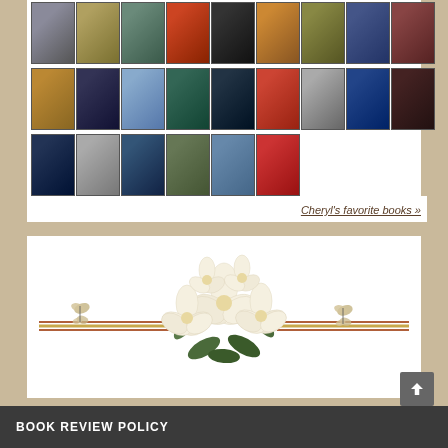[Figure (illustration): Grid of book cover thumbnails arranged in three rows showing various mystery/thriller books including The Girl on the Train, Sara Paretsky Wildcat, Behind Closed Doors, Stolen, Behind Her Eyes, and others]
Cheryl's favorite books »
[Figure (illustration): Decorative floral arrangement with white/cream magnolia flowers and green leaves, with a horizontal striped ribbon/divider and small butterfly decorations on each side]
BOOK REVIEW POLICY